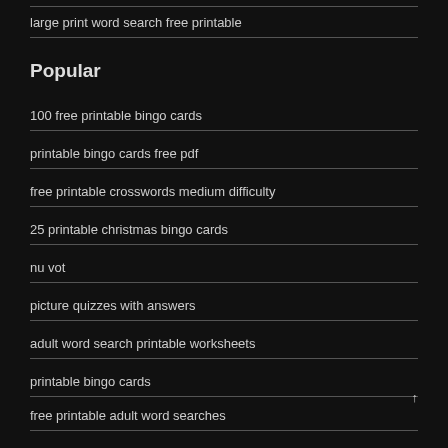large print word search free printable
Popular
100 free printable bingo cards
printable bingo cards free pdf
free printable crosswords medium difficulty
25 printable christmas bingo cards
nu vot
picture quizzes with answers
adult word search printable worksheets
printable bingo cards
free printable adult word searches